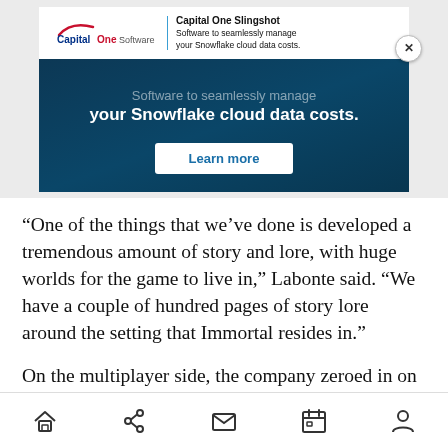[Figure (screenshot): Capital One Slingshot advertisement banner. Dark navy blue background with white top bar showing Capital One Software logo, a blue vertical divider, and small tagline text 'Capital One Slingshot / Software to seamlessly manage your Snowflake cloud data costs.' Main banner shows scrolled text 'Software to seamlessly manage your Snowflake cloud data costs.' with a white 'Learn more' button. Close (X) button in upper right.]
“One of the things that we’ve done is developed a tremendous amount of story and lore, with huge worlds for the game to live in,” Labonte said. “We have a couple of hundred pages of story lore around the setting that Immortal resides in.”
On the multiplayer side, the company zeroed in on 2-versus-2 battles. The company hopes to launch